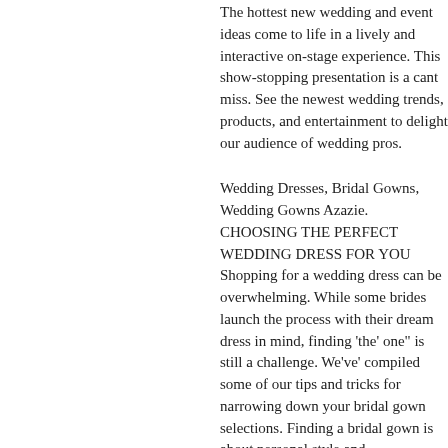The hottest new wedding and event ideas come to life in a lively and interactive on-stage experience. This show-stopping presentation is a cant miss. See the newest wedding trends, products, and entertainment to delight our audience of wedding pros.
Wedding Dresses, Bridal Gowns, Wedding Gowns Azazie. CHOOSING THE PERFECT WEDDING DRESS FOR YOU Shopping for a wedding dress can be overwhelming. While some brides launch the process with their dream dress in mind, finding 'the' one" is still a challenge. We've' compiled some of our tips and tricks for narrowing down your bridal gown selections. Finding a bridal gown is about personal style and...